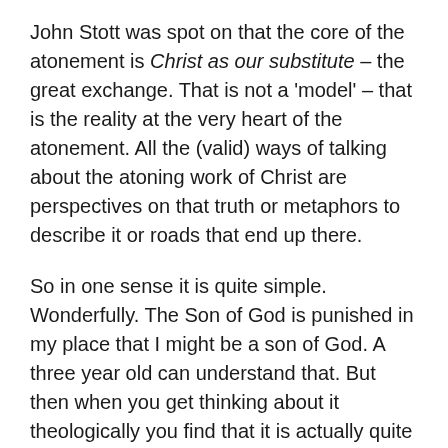John Stott was spot on that the core of the atonement is Christ as our substitute – the great exchange. That is not a 'model' – that is the reality at the very heart of the atonement. All the (valid) ways of talking about the atoning work of Christ are perspectives on that truth or metaphors to describe it or roads that end up there.
So in one sense it is quite simple. Wonderfully. The Son of God is punished in my place that I might be a son of God. A three year old can understand that. But then when you get thinking about it theologically you find that it is actually quite complex.
I remember preparing for a talk on 1 Corinthians 15:1-11 a few years ago. As part of my preparation I read quite a bit of John Owen's The Death of Death in the Death of Christ and a few other shorter papers. Suddenly I realised I was